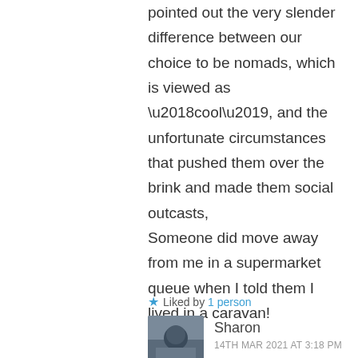pointed out the very slender difference between our choice to be nomads, which is viewed as ‘cool’, and the unfortunate circumstances that pushed them over the brink and made them social outcasts, Someone did move away from me in a supermarket queue when I told them I lived in a caravan!
Liked by 1 person
Sharon
14TH MAR 2021 AT 3:18 PM